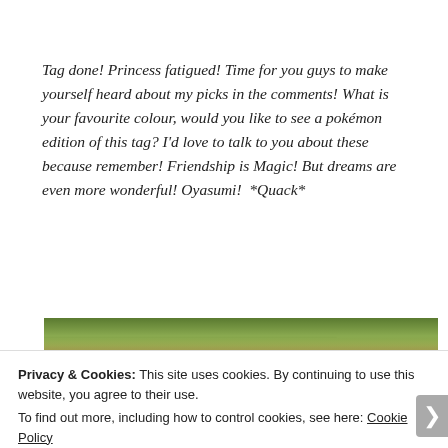Tag done! Princess fatigued! Time for you guys to make yourself heard about my picks in the comments! What is your favourite colour, would you like to see a pokémon edition of this tag? I'd love to talk to you about these because remember! Friendship is Magic! But dreams are even more wonderful! Oyasumi!  *Quack*
[Figure (photo): A close-up photo of what appears to be a fuzzy caterpillar or similar furry creature against a blurred green background.]
Privacy & Cookies: This site uses cookies. By continuing to use this website, you agree to their use.
To find out more, including how to control cookies, see here: Cookie Policy